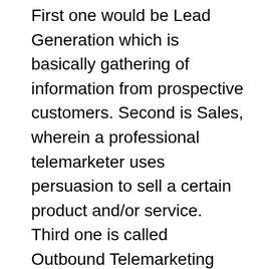First one would be Lead Generation which is basically gathering of information from prospective customers. Second is Sales, wherein a professional telemarketer uses persuasion to sell a certain product and/or service. Third one is called Outbound Telemarketing where potential and existing customers are contacted proactively. The last one is Inbound Telemarketing where a telemarketer receives calls for incoming orders and requests for information. Inbound telemarketing is usually supported by advertising, publicity or by the effort of other sales personnel.
When you hear the word telemarketing, what's the first thing that comes into your mind? I bet it would have something to do with the telephone. When a